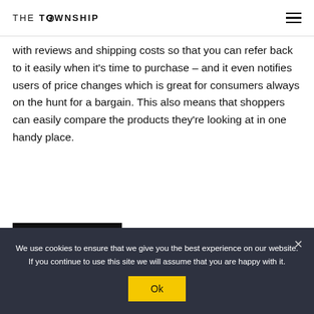THE TOWNSHIP
with reviews and shipping costs so that you can refer back to it easily when it's time to purchase – and it even notifies users of price changes which is great for consumers always on the hunt for a bargain. This also means that shoppers can easily compare the products they're looking at in one handy place.
READ MORE
We use cookies to ensure that we give you the best experience on our website. If you continue to use this site we will assume that you are happy with it.
Ok